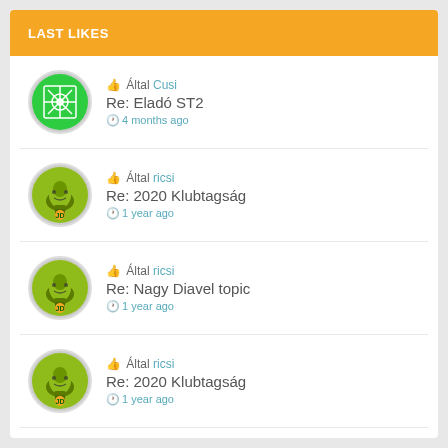LAST LIKES
Által Cusi • Re: Eladó ST2 • 4 months ago
Által ricsi • Re: 2020 Klubtagság • 1 year ago
Által ricsi • Re: Nagy Diavel topic • 1 year ago
Által ricsi • Re: 2020 Klubtagság • 1 year ago
Által dino74 • 2 years ago